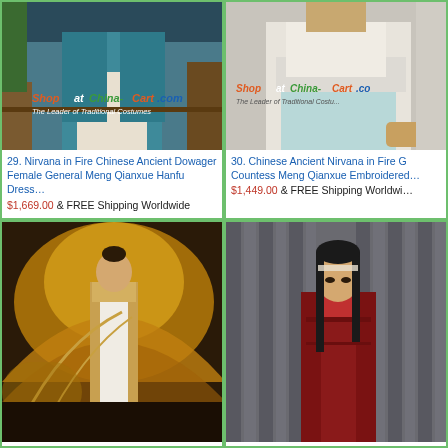[Figure (photo): Product image of Chinese ancient costume - teal/blue Hanfu dress worn by female model, with Shop at China-Cart.com watermark]
29. Nirvana in Fire Chinese Ancient Dowager Female General Meng Qianxue Hanfu Dress…
$1,669.00 & FREE Shipping Worldwide
[Figure (photo): Product image of Chinese ancient costume - white/cream embroidered dress worn by female model, with Shop at China-Cart.com watermark]
30. Chinese Ancient Nirvana in Fire G Countess Meng Qianxue Embroidered…
$1,449.00 & FREE Shipping Worldwide
[Figure (photo): Product image of Chinese ancient costume - white and gold Hanfu dress worn by female model with golden feather fan prop]
[Figure (photo): Product image of Chinese ancient costume - dark red/maroon Hanfu worn by male model with long black hair]